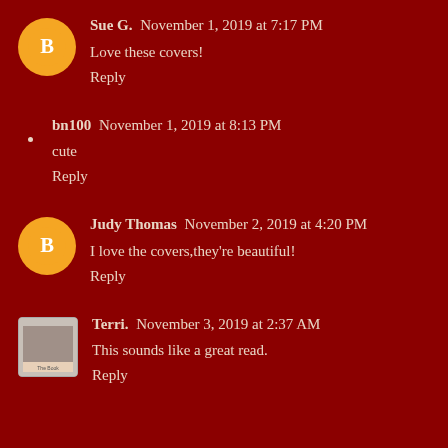Sue G.  November 1, 2019 at 7:17 PM
Love these covers!
Reply
bn100  November 1, 2019 at 8:13 PM
cute
Reply
Judy Thomas  November 2, 2019 at 4:20 PM
I love the covers,they're beautiful!
Reply
Terri.  November 3, 2019 at 2:37 AM
This sounds like a great read.
Reply